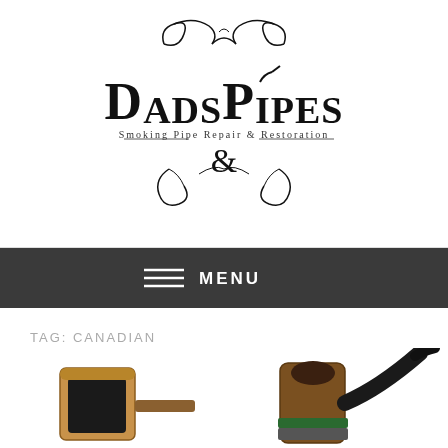[Figure (logo): DadsPipes logo — decorative script with ornamental flourishes, text reads 'DadsPipes Smoking Pipe Repair & Restoration']
≡ MENU
TAG: CANADIAN
[Figure (photo): Close-up photograph of two smoking pipes — one showing a briar bowl with dark fill and one showing a Canadian-style pipe with a long stem, dark mouthpiece, and green accent band]